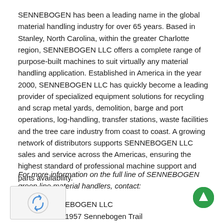SENNEBOGEN has been a leading name in the global material handling industry for over 65 years. Based in Stanley, North Carolina, within the greater Charlotte region, SENNEBOGEN LLC offers a complete range of purpose-built machines to suit virtually any material handling application. Established in America in the year 2000, SENNEBOGEN LLC has quickly become a leading provider of specialized equipment solutions for recycling and scrap metal yards, demolition, barge and port operations, log-handling, transfer stations, waste facilities and the tree care industry from coast to coast. A growing network of distributors supports SENNEBOGEN LLC sales and service across the Americas, ensuring the highest standard of professional machine support and parts availability.
For more information on the full line of SENNEBOGEN green line material handlers, contact:
SENNEBOGEN LLC
1957 Sennebogen Trail